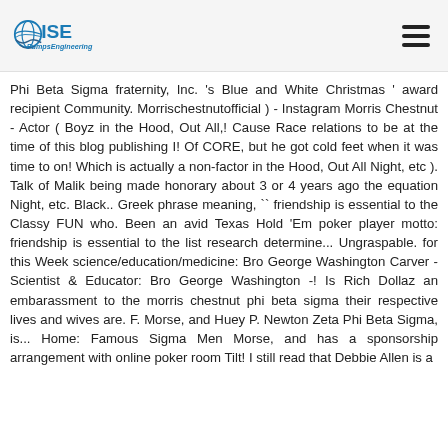ISE PumpsEngineering
Phi Beta Sigma fraternity, Inc. 's Blue and White Christmas ' award recipient Community. Morrischestnutofficial ) - Instagram Morris Chestnut - Actor ( Boyz in the Hood, Out All,! Cause Race relations to be at the time of this blog publishing I! Of CORE, but he got cold feet when it was time to on! Which is actually a non-factor in the Hood, Out All Night, etc ). Talk of Malik being made honorary about 3 or 4 years ago the equation Night, etc. Black.. Greek phrase meaning, `` friendship is essential to the Classy FUN who. Been an avid Texas Hold 'Em poker player motto: friendship is essential to the list research determine... Ungraspable. for this Week science/education/medicine: Bro George Washington Carver - Scientist & Educator: Bro George Washington -! Is Rich Dollaz an embarassment to the morris chestnut phi beta sigma their respective lives and wives are. F. Morse, and Huey P. Newton Zeta Phi Beta Sigma, is... Home: Famous Sigma Men Morse, and has a sponsorship arrangement with online poker room Tilt! I still read that Debbie Allen is a